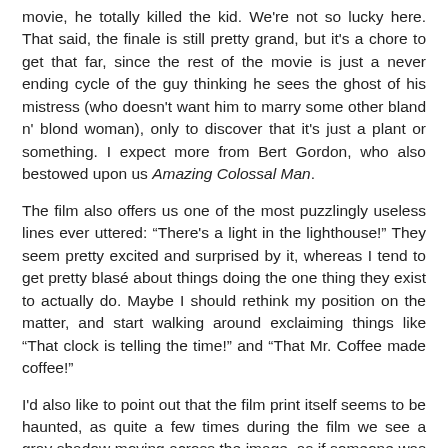movie, he totally killed the kid. We're not so lucky here. That said, the finale is still pretty grand, but it's a chore to get that far, since the rest of the movie is just a never ending cycle of the guy thinking he sees the ghost of his mistress (who doesn't want him to marry some other bland n' blond woman), only to discover that it's just a plant or something. I expect more from Bert Gordon, who also bestowed upon us Amazing Colossal Man.
The film also offers us one of the most puzzlingly useless lines ever uttered: “There's a light in the lighthouse!” They seem pretty excited and surprised by it, whereas I tend to get pretty blasé about things doing the one thing they exist to actually do. Maybe I should rethink my position on the matter, and start walking around exclaiming things like “That clock is telling the time!” and “That Mr. Coffee made coffee!”
I'd also like to point out that the film print itself seems to be haunted, as quite a few times during the film we see a gray shadow moving across the image, as if someone was walking in front of the projector in a theater. Spooky. Or lazy.
To be fair it's not a total waste. The ghost effects are pretty